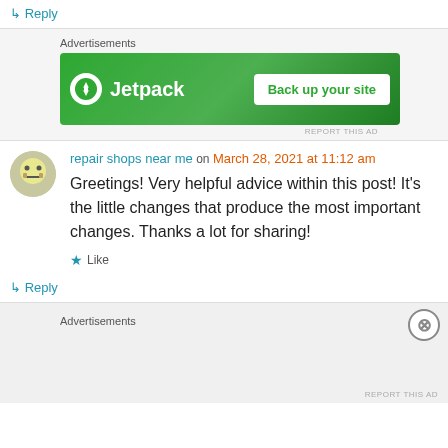↳ Reply
[Figure (screenshot): Jetpack advertisement banner: green background with Jetpack logo and 'Back up your site' button]
REPORT THIS AD
repair shops near me on March 28, 2021 at 11:12 am
Greetings! Very helpful advice within this post! It's the little changes that produce the most important changes. Thanks a lot for sharing!
★ Like
↳ Reply
Advertisements
REPORT THIS AD